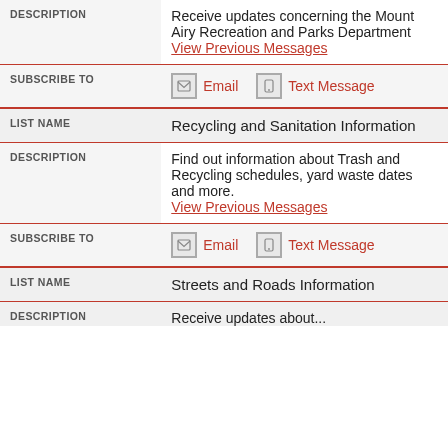| Field | Value |
| --- | --- |
| DESCRIPTION | Receive updates concerning the Mount Airy Recreation and Parks Department
View Previous Messages |
| SUBSCRIBE TO | Email | Text Message |
| LIST NAME | Recycling and Sanitation Information |
| DESCRIPTION | Find out information about Trash and Recycling schedules, yard waste dates and more.
View Previous Messages |
| SUBSCRIBE TO | Email | Text Message |
| LIST NAME | Streets and Roads Information |
| DESCRIPTION | Receive updates about... |